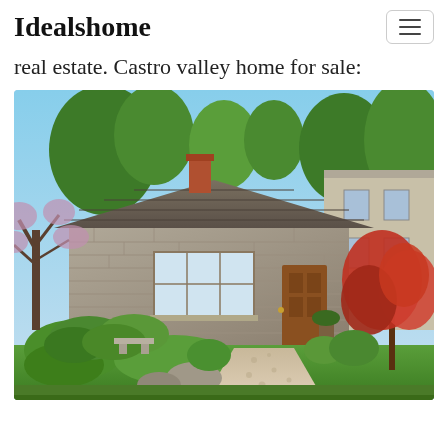Idealshome
real estate. Castro valley home for sale:
[Figure (photo): Exterior photo of a stone-facade single-story home with a wooden front door, surrounded by lush green landscaping, ornamental Japanese maple trees with red foliage, a gravel walkway, and large boulders in the garden. Bright blue sky visible in the background.]